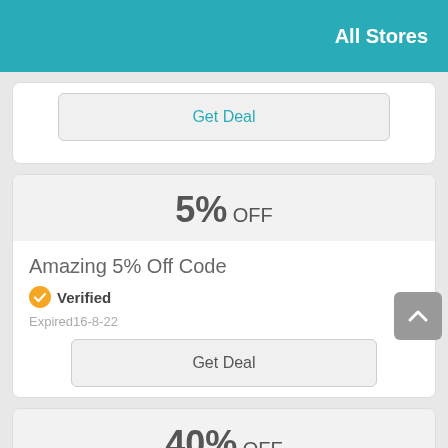All Stores
Get Deal
5% OFF
Amazing 5% Off Code
Verified
Expired16-8-22
Get Deal
40% OFF
40% Off High-rise Straight Wool Pants